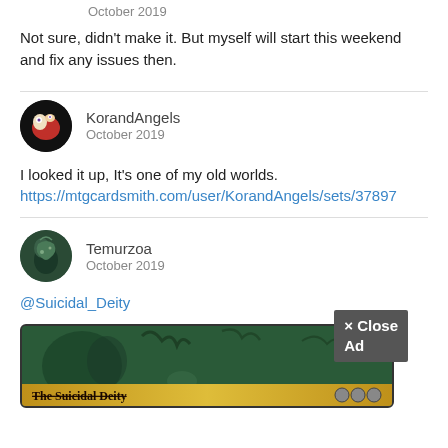October 2019
Not sure, didn't make it. But myself will start this weekend and fix any issues then.
KorandAngels
October 2019
I looked it up, It's one of my old worlds.
https://mtgcardsmith.com/user/KorandAngels/sets/37897
Temurzoa
October 2019
@Suicidal_Deity
[Figure (screenshot): Partially visible trading card image with forest background and gold title bar reading 'The Suicidal Deity' with a 'x Close Ad' overlay button]